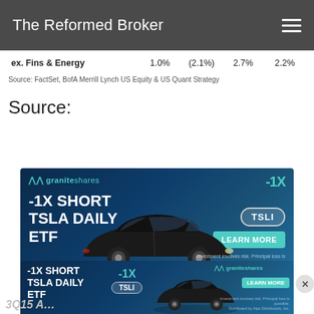The Reformed Broker
|  |  |  |  |  |
| --- | --- | --- | --- | --- |
| ex. Fins & Energy | 1.0% | (2.1%) | 2.7% | 2.2% |
Source: FactSet, BofA Merrill Lynch US Equity & US Quant Strategy
Source:
[Figure (photo): GraniteShares advertisement banner: -1X Short TSLA Daily ETF, ticker TSLI, with Learn More button, car image, and fine print]
[Figure (photo): GraniteShares sticky bottom advertisement: -1X Short TSLA Daily ETF, ticker TSLI, Learn More button, car image]